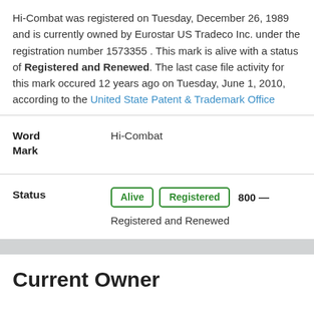Hi-Combat was registered on Tuesday, December 26, 1989 and is currently owned by Eurostar US Tradeco Inc. under the registration number 1573355 . This mark is alive with a status of Registered and Renewed. The last case file activity for this mark occured 12 years ago on Tuesday, June 1, 2010, according to the United State Patent & Trademark Office
| Field | Value |
| --- | --- |
| Word Mark | Hi-Combat |
| Status | Alive | Registered | 800 — Registered and Renewed |
Current Owner